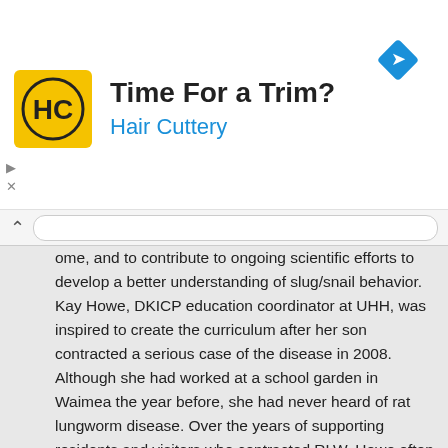[Figure (advertisement): Hair Cuttery advertisement banner with yellow HC logo, text 'Time For a Trim?' and 'Hair Cuttery' in blue, and a blue navigation diamond icon on the right. Ad controls (play and close) on the left side.]
ome, and to contribute to ongoing scientific efforts to develop a better understanding of slug/snail behavior. Kay Howe, DKICP education coordinator at UHH, was inspired to create the curriculum after her son contracted a serious case of the disease in 2008. Although she had worked at a school garden in Waimea the year before, she had never heard of rat lungworm disease. Over the years of supporting residents and visitors who contracted RLW, Howe often heard a similar sentiment: before diagnosis, many of them had never heard of it. "I was concerned because my mind kept coming back to that school garden. As school gardens were being put in at schools across the island I was so excited for the opportunity for the students to